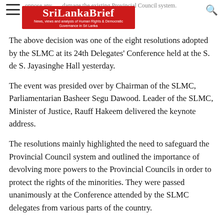SriLankaBrief — News, views and analysis of Human Rights & Democratic Governance in Sri Lanka
The above decision was one of the eight resolutions adopted by the SLMC at its 24th Delegates' Conference held at the S. de S. Jayasinghe Hall yesterday.
The event was presided over by Chairman of the SLMC, Parliamentarian Basheer Segu Dawood. Leader of the SLMC, Minister of Justice, Rauff Hakeem delivered the keynote address.
The resolutions mainly highlighted the need to safeguard the Provincial Council system and outlined the importance of devolving more powers to the Provincial Councils in order to protect the rights of the minorities. They were passed unanimously at the Conference attended by the SLMC delegates from various parts of the country.
The party also expressed grave concern over the intensity of the widespread religious intolerance that is being unleashed